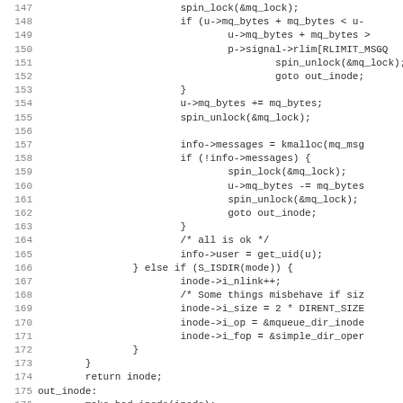[Figure (other): Source code listing in C, lines 147-178, showing kernel/inode-related code with spin locks, mq_bytes manipulation, kmalloc, and directory inode operations.]